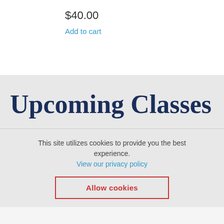$40.00
Add to cart
Upcoming Classes
This site utilizes cookies to provide you the best experience.
View our privacy policy
Allow cookies